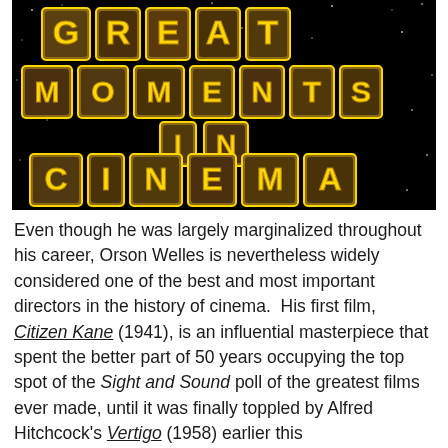[Figure (illustration): Decorative title graphic on black starry background reading 'GREAT MOMENTS IN CINEMA' in large gold 3D letters with movie scene collage images visible within each letter.]
Even though he was largely marginalized throughout his career, Orson Welles is nevertheless widely considered one of the best and most important directors in the history of cinema.  His first film, Citizen Kane (1941), is an influential masterpiece that spent the better part of 50 years occupying the top spot of the Sight and Sound poll of the greatest films ever made, until it was finally toppled by Alfred Hitchcock's Vertigo (1958) earlier this